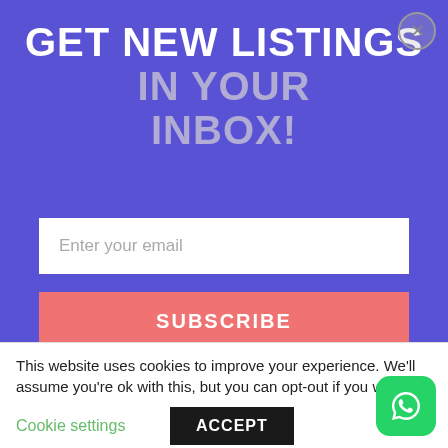GET NEW LISTINGS IN YOUR INBOX!
Enter your email
SUBSCRIBE
first contact, you will be putting yourself at risk here and may be charged a premium for no reason other than your country of origin.
This website uses cookies to improve your experience. We'll assume you're ok with this, but you can opt-out if you wish
Cookie settings
ACCEPT